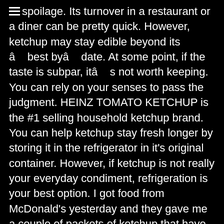spoilage. Its turnover in a restaurant or a diner can be pretty quick. However, ketchup may stay edible beyond its â best byâ date. At some point, if the taste is subpar, itâ s not worth keeping. You can rely on your senses to pass the judgment. HEINZ TOMATO KETCHUP is the #1 selling household ketchup brand. You can help ketchup stay fresh longer by storing it in the refrigerator in it's original container. However, if ketchup is not really your everyday condiment, refrigeration is your best option. I got food from McDonald's yesterday and they gave me a couple of packets of ketchup that have a copyright date from 1986 printed on it. In determining how long Ketchup lasts, our content incorporates research from multiple resources, including the United States Department of Agriculture and the United States Food & Drug Administration. You can usually tell if the ketchup has gone bad once you open... Unopened ketchup can